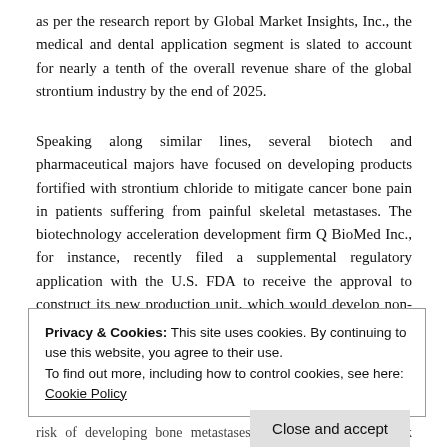as per the research report by Global Market Insights, Inc., the medical and dental application segment is slated to account for nearly a tenth of the overall revenue share of the global strontium industry by the end of 2025.
Speaking along similar lines, several biotech and pharmaceutical majors have focused on developing products fortified with strontium chloride to mitigate cancer bone pain in patients suffering from painful skeletal metastases. The biotechnology acceleration development firm Q BioMed Inc., for instance, recently filed a supplemental regulatory application with the U.S. FDA to receive the approval to construct its new production unit, which would develop non-opioid injectable named Strontium Chloride Sr89 Injection USP.
Privacy & Cookies: This site uses cookies. By continuing to use this website, you agree to their use.
To find out more, including how to control cookies, see here: Cookie Policy
Close and accept
risk of developing bone metastases, would witness an uptick owing to the burgeoning preference among patients to use alternative bone...